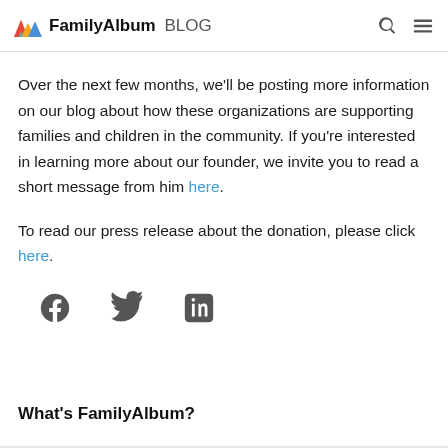FamilyAlbum BLOG
this pandemic," said Janti Soeripto, President and CEO of Save the Children.
Over the next few months, we'll be posting more information on our blog about how these organizations are supporting families and children in the community. If you're interested in learning more about our founder, we invite you to read a short message from him here.
To read our press release about the donation, please click here.
[Figure (other): Social sharing icons: Facebook, Twitter, LinkedIn]
What's FamilyAlbum?